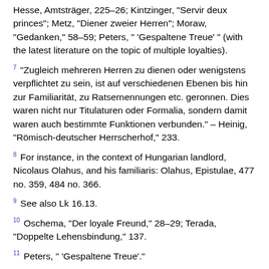Hesse, Amtsträger, 225–26; Kintzinger, 'Servir deux princes'; Metz, "Diener zweier Herren"; Moraw, "Gedanken," 58–59; Peters, " 'Gespaltene Treue' " (with the latest literature on the topic of multiple loyalties).
7 "Zugleich mehreren Herren zu dienen oder wenigstens verpflichtet zu sein, ist auf verschiedenen Ebenen bis hin zur Familiarität, zu Ratsernennungen etc. geronnen. Dies waren nicht nur Titulaturen oder Formalia, sondern damit waren auch bestimmte Funktionen verbunden." – Heinig, "Römisch-deutscher Herrscherhof," 233.
8 For instance, in the context of Hungarian landlord, Nicolaus Olahus, and his familiaris: Olahus, Epistulae, 477 no. 359, 484 no. 366.
9 See also Lk 16.13.
10 Oschema, "Der loyale Freund," 28–29; Terada, "Doppelte Lehensbindung," 137.
11 Peters, " 'Gespaltene Treue'."